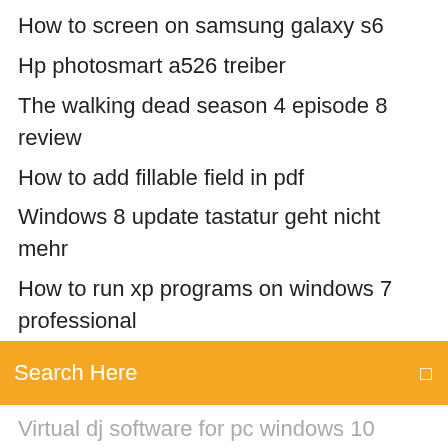How to screen on samsung galaxy s6
Hp photosmart a526 treiber
The walking dead season 4 episode 8 review
How to add fillable field in pdf
Windows 8 update tastatur geht nicht mehr
How to run xp programs on windows 7 professional
[Figure (screenshot): Search bar with orange background and text 'Search Here']
Virtual dj software for pc windows 10 download
Driver epson t30 windows 10 64 bits
Treiber hp deskjet 1051 print scan copy
Euro truck simulator 2 multiplayer cant install
Canon lide 110 scanner driver software free download for windows 10
How to remove iphone battery percentage
Samsung curved tv mit laptop verbinden
Format factory free download latest version for windows 7
Automatic installation mods for gta san andreas
Die siedler aufstieg eines königreichs lösung mission 4